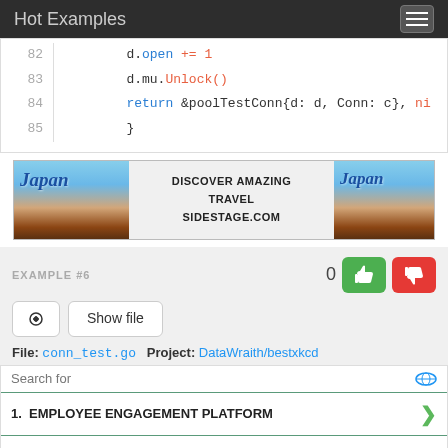Hot Examples
82    d.open += 1
83    d.mu.Unlock()
84    return &poolTestConn{d: d, Conn: c}, ni
85    }
[Figure (screenshot): Japan travel advertisement banner with text DISCOVER AMAZING TRAVEL SIDESTAGE.COM]
EXAMPLE #6
0 [thumbs up] [thumbs down]
[link icon] Show file
File: conn_test.go   Project: DataWraith/bestxkcd
Search for
1. EMPLOYEE ENGAGEMENT PLATFORM
2. DIGITAL EMPLOYEE ENGAGEMENT
Yahoo! Search | Sponsored